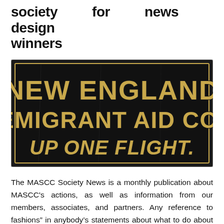society for news design winners
[Figure (photo): A vintage black sign with gold lettering reading 'NEW ENGLAND EMIGRANT AID CO. UP ONE FLIGHT.']
The MASCC Society News is a monthly publication about MASCC’s actions, as well as information from our members, associates, and partners. Any reference to fashions” in anybody’s statements about what to do about climate change ought to arouse instant